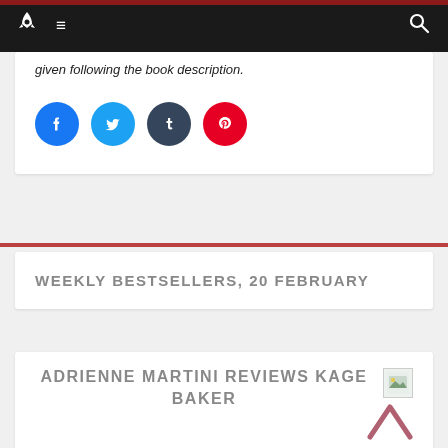Navigation bar with rocket logo, menu icon, and search icon
given following the book description.
[Figure (infographic): Social sharing icons: Facebook (blue circle), Twitter (light blue circle), Tumblr (dark blue circle), Pinterest (red circle)]
WEEKLY BESTSELLERS, 20 FEBRUARY
ADRIENNE MARTINI REVIEWS KAGE BAKER